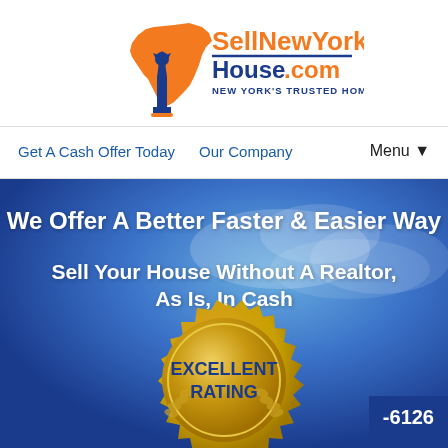[Figure (logo): SellNewYorkHouse.com logo with orange NY state outline, blue Statue of Liberty, and orange/blue text reading 'SellNewYork House.com NEW YORK'S TRUSTED HOME BUYER']
Get A Cash Offer Today   Our Company   Menu ▼
We Offer A Better Faster & Easier Way
Sell Your House Without A Realtor, As Is, In Cash
[Figure (illustration): Gold seal/medal badge with text 'EXCELLENT RATING' and decorative laurel wreath design]
-6126